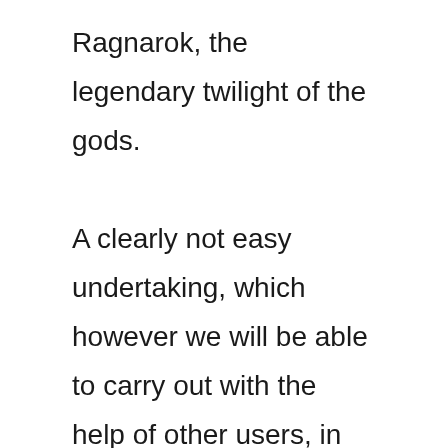Ragnarok, the legendary twilight of the gods.

A clearly not easy undertaking, which however we will be able to carry out with the help of other users, in the context of games for up to ten participants, exploring a fascinating scenario in cel shading and experimenting with the two modes included in the game. that is a short but intense Saga and a survival ready